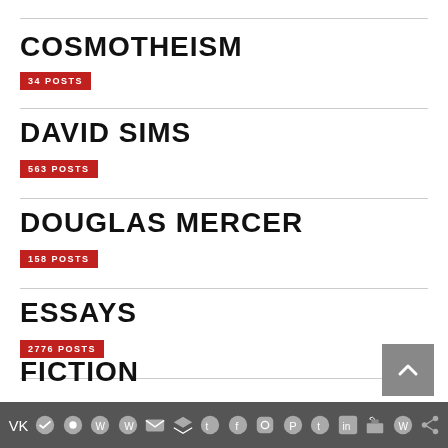COSMOTHEISM
34 POSTS
DAVID SIMS
563 POSTS
DOUGLAS MERCER
158 POSTS
ESSAYS
2776 POSTS
FICTION
social media icon bar